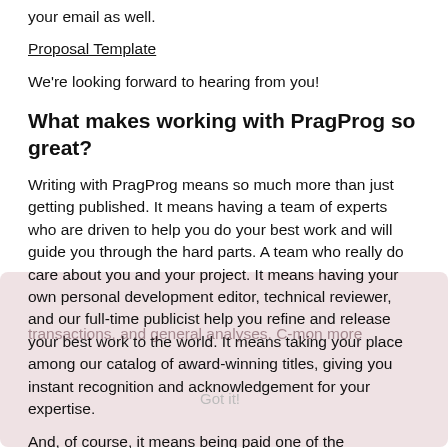your email as well.
Proposal Template
We're looking forward to hearing from you!
What makes working with PragProg so great?
Writing with PragProg means so much more than just getting published. It means having a team of experts who are driven to help you do your best work and will guide you through the hard parts. A team who really do care about you and your project. It means having your own personal development editor, technical reviewer, and our full-time publicist help you refine and release your best work to the world. It means taking your place among our catalog of award-winning titles, giving you instant recognition and acknowledgement for your expertise.
And, of course, it means being paid one of the